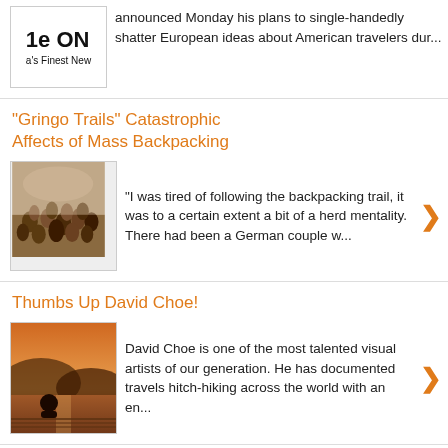announced Monday his plans to single-handedly shatter European ideas about American travelers dur...
"Gringo Trails" Catastrophic Affects of Mass Backpacking
"I was tired of following the backpacking trail, it was to a certain extent a bit of a herd mentality. There had been a German couple w...
Thumbs Up David Choe!
David Choe is one of the most talented visual artists of our generation. He has documented travels hitch-hiking across the world with an  en...
Home